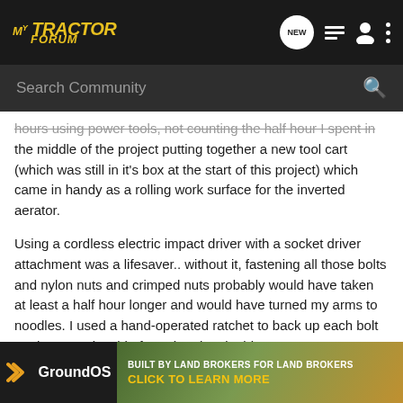MyTractorForum — NEW | list | user | more
Search Community
hours using power tools, not counting the half hour I spent in the middle of the project putting together a new tool cart (which was still in it's box at the start of this project) which came in handy as a rolling work surface for the inverted aerator.
Using a cordless electric impact driver with a socket driver attachment was a lifesaver.. without it, fastening all those bolts and nylon nuts and crimped nuts probably would have taken at least a half hour longer and would have turned my arms to noodles. I used a hand-operated ratchet to back up each bolt on the opposite side from the electric driver.
The materials seemed pretty sturdy, and I like the fact that the spoon "sprockets" rotate independently (well, on 4 double sprockets...  In fact it corners... below).
[Figure (screenshot): GroundOS advertisement banner: BUILT BY LAND BROKERS FOR LAND BROKERS — CLICK TO LEARN MORE]